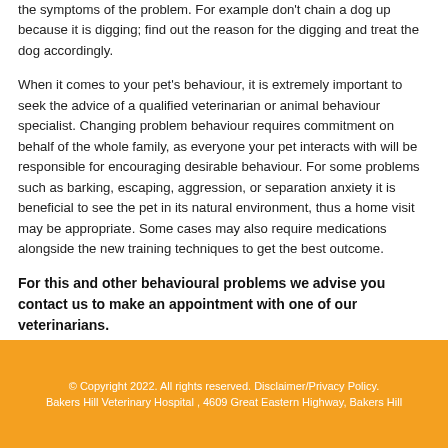the symptoms of the problem. For example don't chain a dog up because it is digging; find out the reason for the digging and treat the dog accordingly.
When it comes to your pet's behaviour, it is extremely important to seek the advice of a qualified veterinarian or animal behaviour specialist. Changing problem behaviour requires commitment on behalf of the whole family, as everyone your pet interacts with will be responsible for encouraging desirable behaviour. For some problems such as barking, escaping, aggression, or separation anxiety it is beneficial to see the pet in its natural environment, thus a home visit may be appropriate. Some cases may also require medications alongside the new training techniques to get the best outcome.
For this and other behavioural problems we advise you contact us to make an appointment with one of our veterinarians.
© Copyright 2022. All rights reserved. Disclaimer/Privacy Policy. Bakers Hill Veterinary Hospital , 4609 Great Eastern Highway, Bakers Hill